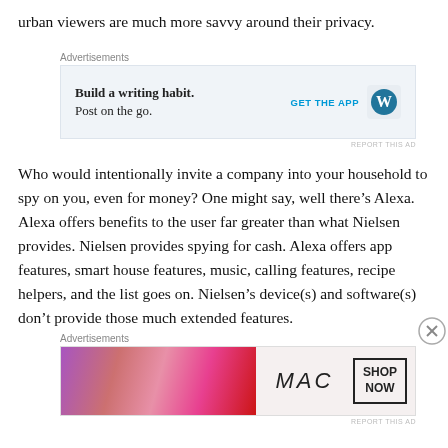urban viewers are much more savvy around their privacy.
[Figure (other): WordPress advertisement: 'Build a writing habit. Post on the go.' with GET THE APP button and WordPress logo]
Who would intentionally invite a company into your household to spy on you, even for money? One might say, well there's Alexa. Alexa offers benefits to the user far greater than what Nielsen provides. Nielsen provides spying for cash. Alexa offers app features, smart house features, music, calling features, recipe helpers, and the list goes on. Nielsen's device(s) and software(s) don't provide those much extended features.
[Figure (other): MAC Cosmetics advertisement showing lipsticks with 'SHOP NOW' button]